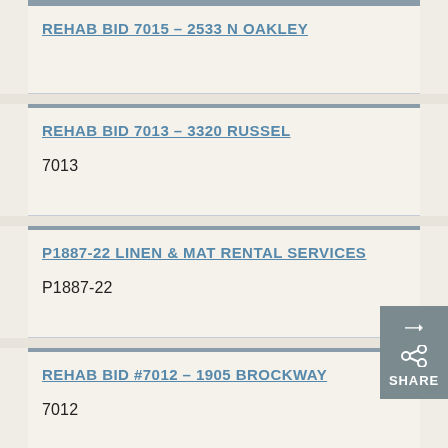REHAB BID 7015 – 2533 N OAKLEY
REHAB BID 7013 – 3320 RUSSEL
7013
P1887-22 LINEN & MAT RENTAL SERVICES
P1887-22
REHAB BID #7012 – 1905 BROCKWAY
7012
OVERHEAD GARAGE DOOR SERVICE CONTRACT
P1885-22
METER TESTING